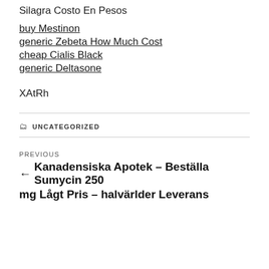Silagra Costo En Pesos
buy Mestinon
generic Zebeta How Much Cost
cheap Cialis Black
generic Deltasone
XAtRh
UNCATEGORIZED
PREVIOUS
← Kanadensiska Apotek – Beställa Sumycin 250 mg Lågt Pris – halvärlder Leverans